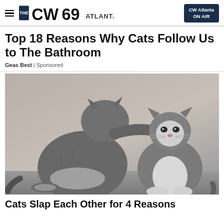THE CW69 ATLANTA | CW Atlanta ON AIR
Top 18 Reasons Why Cats Follow Us to The Bathroom
Geas Best | Sponsored
[Figure (photo): Two grey cats facing each other; one cat reaching out a paw to touch the other cat's face, against a neutral grey background.]
Cats Slap Each Other for 4 Reasons